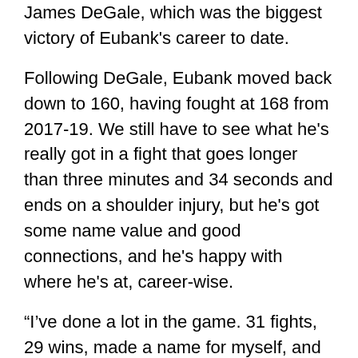James DeGale, which was the biggest victory of Eubank's career to date.
Following DeGale, Eubank moved back down to 160, having fought at 168 from 2017-19. We still have to see what he's really got in a fight that goes longer than three minutes and 34 seconds and ends on a shoulder injury, but he's got some name value and good connections, and he's happy with where he's at, career-wise.
“I've done a lot in the game. 31 fights, 29 wins, made a name for myself, and I’m still going strong,” he told Sky Sports’ Anna Woolhouse. “At 30 years old, I’m in my prime and in a great position now to be fighting guys at the top, the top world champions in the middleweight division. I'm as strong as ever, I have an amazing new